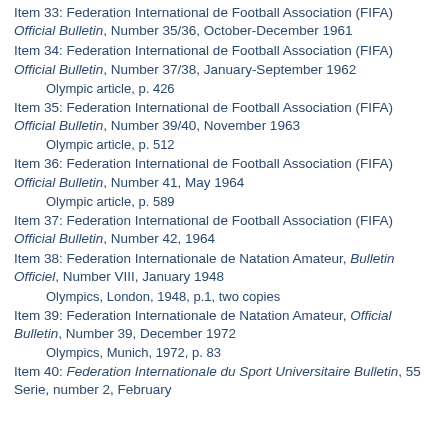Item 33: Federation International de Football Association (FIFA) Official Bulletin, Number 35/36, October-December 1961
Item 34: Federation International de Football Association (FIFA) Official Bulletin, Number 37/38, January-September 1962
Olympic article, p. 426
Item 35: Federation International de Football Association (FIFA) Official Bulletin, Number 39/40, November 1963
Olympic article, p. 512
Item 36: Federation International de Football Association (FIFA) Official Bulletin, Number 41, May 1964
Olympic article, p. 589
Item 37: Federation International de Football Association (FIFA) Official Bulletin, Number 42, 1964
Item 38: Federation Internationale de Natation Amateur, Bulletin Officiel, Number VIII, January 1948
Olympics, London, 1948, p.1, two copies
Item 39: Federation Internationale de Natation Amateur, Official Bulletin, Number 39, December 1972
Olympics, Munich, 1972, p. 83
Item 40: Federation Internationale du Sport Universitaire Bulletin, 55 Serie, number 2, February...